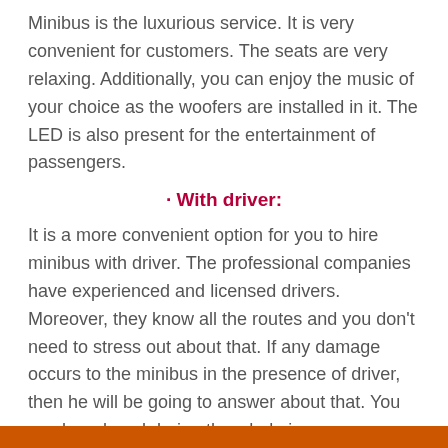Minibus is the luxurious service. It is very convenient for customers. The seats are very relaxing. Additionally, you can enjoy the music of your choice as the woofers are installed in it. The LED is also present for the entertainment of passengers.
· With driver:
It is a more convenient option for you to hire minibus with driver. The professional companies have experienced and licensed drivers. Moreover, they know all the routes and you don't need to stress out about that. If any damage occurs to the minibus in the presence of driver, then he will be going to answer about that. You can be relaxed during the whole journey.